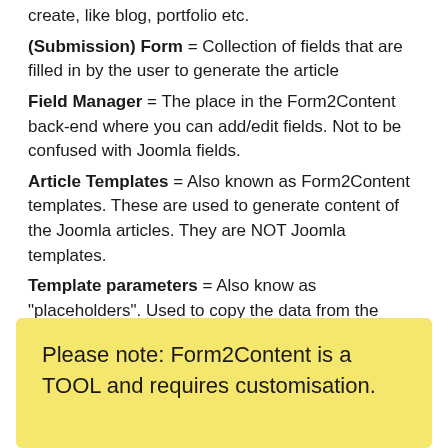Content Type = Type of Joomla articles we want to create, like blog, portfolio etc. (Submission) Form = Collection of fields that are filled in by the user to generate the article Field Manager = The place in the Form2Content back-end where you can add/edit fields. Not to be confused with Joomla fields. Article Templates = Also known as Form2Content templates. These are used to generate content of the Joomla articles. They are NOT Joomla templates. Template parameters = Also know as "placeholders". Used to copy the data from the forms into the templates.
Please note: Form2Content is a TOOL and requires customisation.